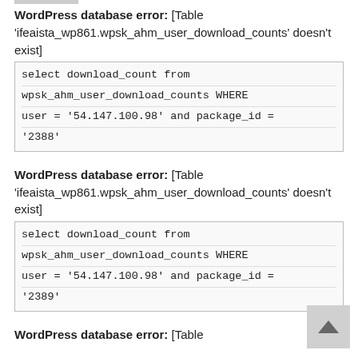WordPress database error: [Table 'ifeaista_wp861.wpsk_ahm_user_download_counts' doesn't exist]
select download_count from wpsk_ahm_user_download_counts WHERE user = '54.147.100.98' and package_id = '2388'
WordPress database error: [Table 'ifeaista_wp861.wpsk_ahm_user_download_counts' doesn't exist]
select download_count from wpsk_ahm_user_download_counts WHERE user = '54.147.100.98' and package_id = '2389'
WordPress database error: [Table